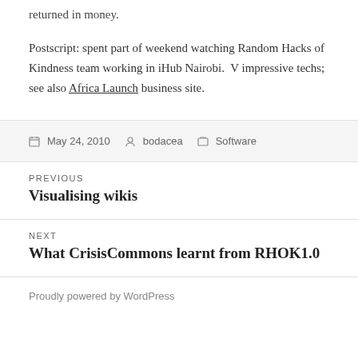returned in money.
Postscript: spent part of weekend watching Random Hacks of Kindness team working in iHub Nairobi. V impressive techs; see also Africa Launch business site.
May 24, 2010  bodacea  Software
PREVIOUS
Visualising wikis
NEXT
What CrisisCommons learnt from RHOK1.0
Proudly powered by WordPress